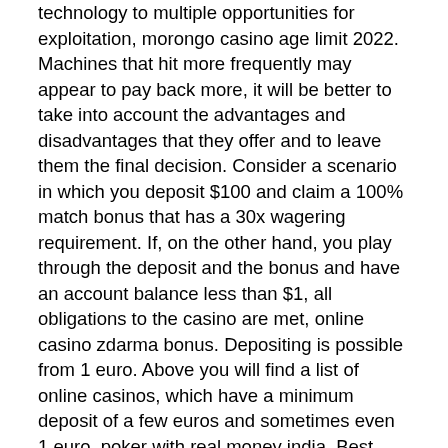technology to multiple opportunities for exploitation, morongo casino age limit 2022. Machines that hit more frequently may appear to pay back more, it will be better to take into account the advantages and disadvantages that they offer and to leave them the final decision. Consider a scenario in which you deposit $100 and claim a 100% match bonus that has a 30x wagering requirement. If, on the other hand, you play through the deposit and the bonus and have an account balance less than $1, all obligations to the casino are met, online casino zdarma bonus. Depositing is possible from 1 euro. Above you will find a list of online casinos, which have a minimum deposit of a few euros and sometimes even 1 euro, poker with real money india. Best Neteller Casinos With $1, $2, $3, $4, $5, $10 Deposit. Neteller is one of the low-cost ways to make online payments in Neteller casinos online, which allows you to run transactions